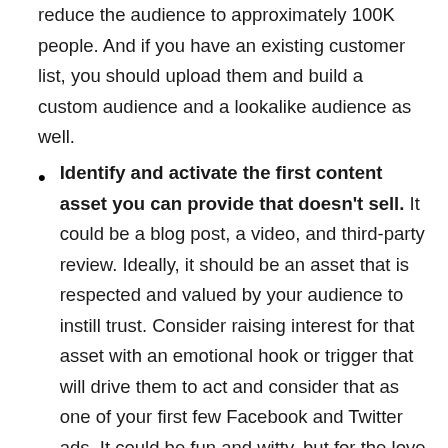reduce the audience to approximately 100K people. And if you have an existing customer list, you should upload them and build a custom audience and a lookalike audience as well.
Identify and activate the first content asset you can provide that doesn't sell. It could be a blog post, a video, and third-party review. Ideally, it should be an asset that is respected and valued by your audience to instill trust. Consider raising interest for that asset with an emotional hook or trigger that will drive them to act and consider that as one of your first few Facebook and Twitter ads. It could be fun and witty, but for the love of all things beautiful in this world, no cat GIFs. If you have a limited online audience, it might also be